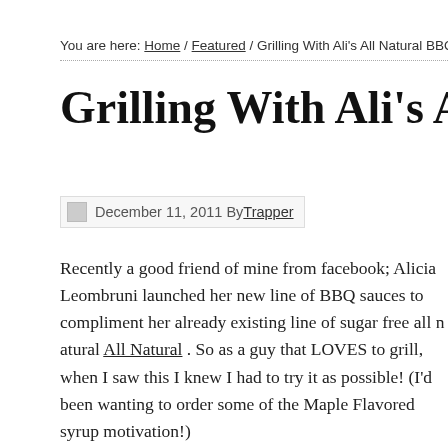You are here: Home / Featured / Grilling With Ali's All Natural BBQ Sauce
Grilling With Ali's All Natural BBQ Sau
December 11, 2011 By Trapper
Recently a good friend of mine from facebook; Alicia Leombruni launched her new line of BBQ sauces to compliment her already existing line of sugar free all natural Ali's All Natural . So as a guy that LOVES to grill, when I saw this I knew I had to try it as soon as possible! (I'd been wanting to order some of the Maple Flavored syrup anyway, so this was great motivation!)
When the package arrived earlier this week, I ripped it open like a toddler opening Christmas presents!
Slowly unscrewing the cap once the bottle was unwrapped, I paused and breathed it all up as I breathed it all in and then I poured just a bit into the cap. Using